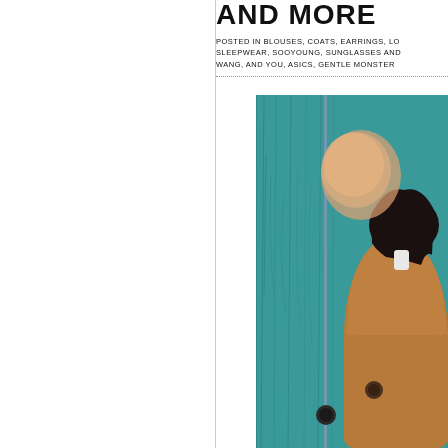AND MORE
POSTED IN BLOUSES, COATS, EARRINGS, LO SLEEPWEAR, SOOYOUNG, SUNGLASSES AND WANG, AND YOU, ASICS, GENTLE MONSTER
[Figure (photo): A person with dark hair wearing a camel/brown oversized coat, standing in front of a teal/turquoise wooden door, viewed from behind. The face is blurred.]